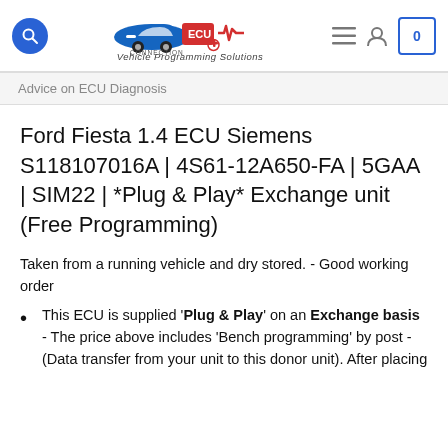[Figure (logo): ECU Connection - Vehicle Programming Solutions logo with car and ECU graphic, search icon, hamburger menu, user icon, and cart showing 0]
Advice on ECU Diagnosis
Ford Fiesta 1.4 ECU Siemens S118107016A | 4S61-12A650-FA | 5GAA | SIM22 | *Plug & Play* Exchange unit (Free Programming)
Taken from a running vehicle and dry stored. - Good working order
This ECU is supplied 'Plug & Play' on an Exchange basis - The price above includes 'Bench programming' by post - (Data transfer from your unit to this donor unit). After placing